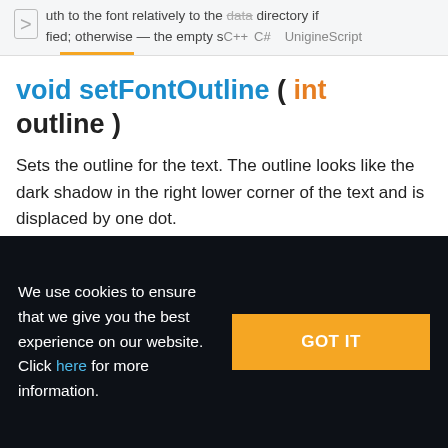uth to the font relatively to the data directory if fied; otherwise — the empty string
void setFontOutline ( int outline )
Sets the outline for the text. The outline looks like the dark shadow in the right lower corner of the text and is displaced by one dot.
We use cookies to ensure that we give you the best experience on our website. Click here for more information.